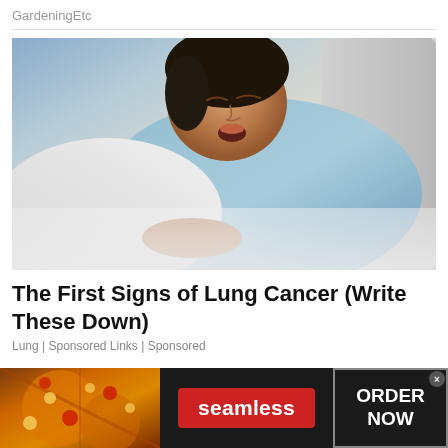GardeningEtc
[Figure (photo): A man sleeping in bed with mouth open, wearing a light blue t-shirt, resting on a white pillow with white sheets]
The First Signs of Lung Cancer (Write These Down)
Lung | Sponsored Links | Sponsored
[Figure (infographic): Seamless food delivery advertisement banner showing pizza image on left, red Seamless button in center, and ORDER NOW button on right against dark background]